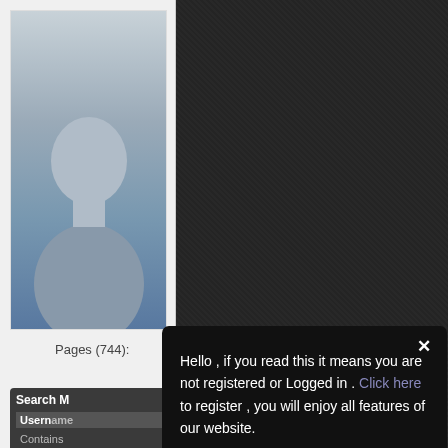[Figure (screenshot): Screenshot of a web interface with a dark textured background, a white left sidebar panel showing a user avatar/profile image and navigation elements including Pages (744) label, a Search box with Username and Contains fields, and a dark modal popup dialog overlaying the page.]
Pages (744):
Search M
Username
Contains
Hello , if you read this it means you are not registered or Logged in . Click here to register , you will enjoy all features of our website.